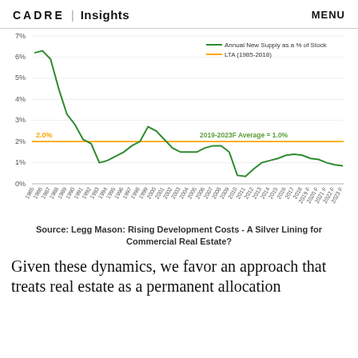CADRE | Insights   MENU
[Figure (line-chart): Annual New Supply as a % of Stock]
Source: Legg Mason: Rising Development Costs - A Silver Lining for Commercial Real Estate?
Given these dynamics, we favor an approach that treats real estate as a permanent allocation